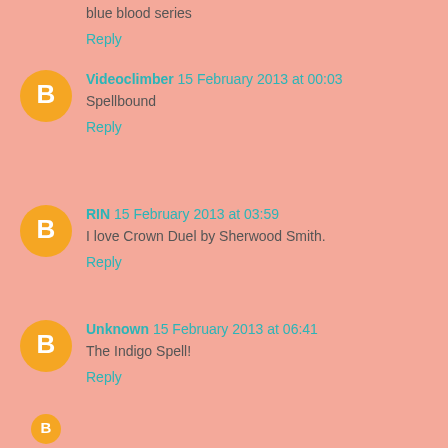blue blood series
Reply
Videoclimber  15 February 2013 at 00:03
Spellbound
Reply
RIN  15 February 2013 at 03:59
I love Crown Duel by Sherwood Smith.
Reply
Unknown  15 February 2013 at 06:41
The Indigo Spell!
Reply